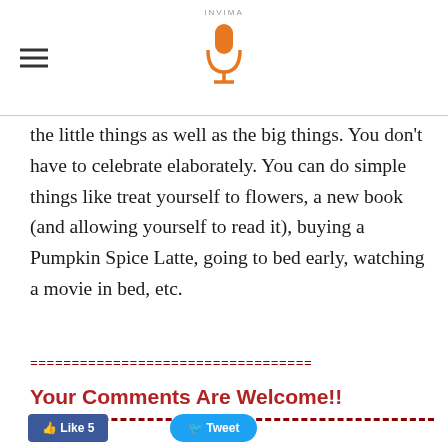INVIMA [logo with microphone icon]
the little things as well as the big things. You don't have to celebrate elaborately. You can do simple things like treat yourself to flowers, a new book (and allowing yourself to read it), buying a Pumpkin Spice Latte, going to bed early, watching a movie in bed, etc.
Your Comments Are Welcome!!